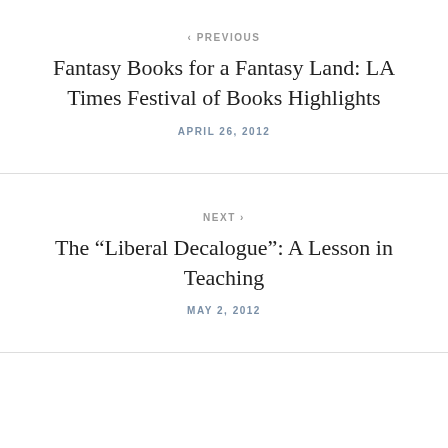‹ PREVIOUS
Fantasy Books for a Fantasy Land: LA Times Festival of Books Highlights
APRIL 26, 2012
NEXT ›
The “Liberal Decalogue”: A Lesson in Teaching
MAY 2, 2012